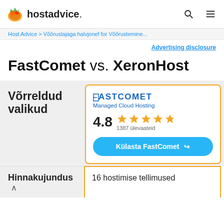hostadvice.
Host Advice > Võõrustajaga helvjonef for Võõrustemine...
Advertising disclosure
FastComet vs. XeronHost
Võrreldud valikud
[Figure (other): FastComet logo with tagline Managed Cloud Hosting, rating 4.8 stars (1387 ülevaateid), and Visit FastComet button]
Hinnakujundus
16 hostimise tellimused